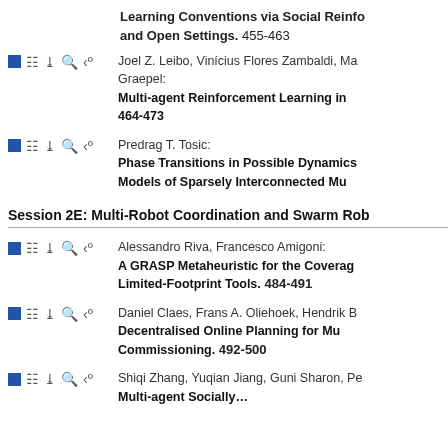Learning Conventions via Social Reinforcement and Open Settings. 455-463
Joel Z. Leibo, Vinícius Flores Zambaldi, Ma… Graepel: Multi-agent Reinforcement Learning i… 464-473
Predrag T. Tosic: Phase Transitions in Possible Dynamics… Models of Sparsely Interconnected Mu…
Session 2E: Multi-Robot Coordination and Swarm Rob…
Alessandro Riva, Francesco Amigoni: A GRASP Metaheuristic for the Coverag… Limited-Footprint Tools. 484-491
Daniel Claes, Frans A. Oliehoek, Hendrik B… Decentralised Online Planning for Mu… Commissioning. 492-500
Shiqi Zhang, Yuqian Jiang, Guni Sharon, Pe… Multi-agent Socially…